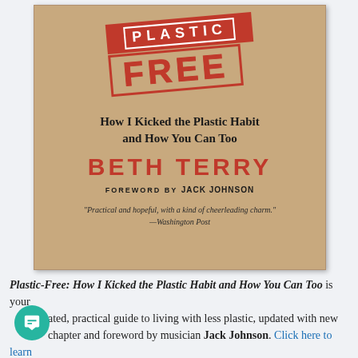[Figure (illustration): Book cover of 'Plastic-Free: How I Kicked the Plastic Habit and How You Can Too' by Beth Terry. Kraft-paper brown background with a large red rubber-stamp style logo reading 'PLASTIC FREE'. Below the stamp: subtitle in bold serif, author name in large red sans-serif capitals 'BETH TERRY', foreword credit 'FOREWORD BY JACK JOHNSON', and a pull quote from the Washington Post.]
Plastic-Free: How I Kicked the Plastic Habit and How You Can Too is your updated, practical guide to living with less plastic, updated with new chapter and foreword by musician Jack Johnson. Click here to learn more.